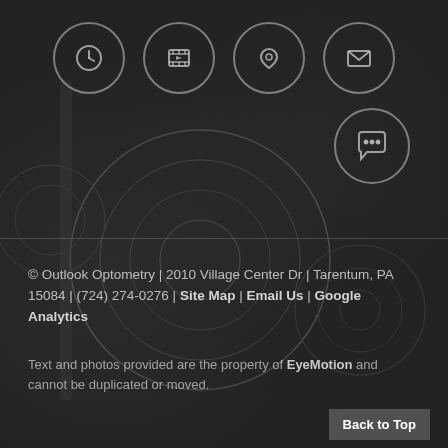[Figure (infographic): Dark background with optometry equipment (phoropter/refractor). Four circular icon buttons in top row: clock/hours icon, film/video icon, map pin/location icon, envelope/email icon. One circular chat bubble icon in second row on right side. Horizontal divider line below icons.]
© Outlook Optometry | 2010 Village Center Dr | Tarentum, PA 15084 | (724) 274-0276 | Site Map | Email Us | Google Analytics
Text and photos provided are the property of EyeMotion and cannot be duplicated or moved.
Back to Top